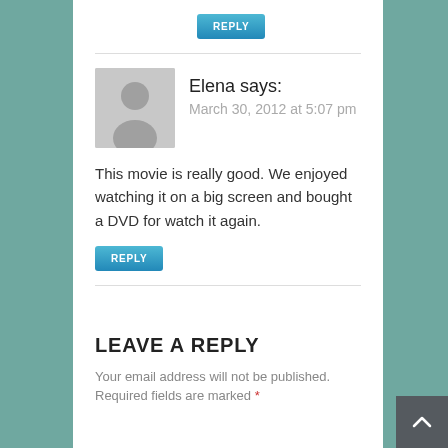[Figure (other): REPLY button at top of page]
Elena says:
March 30, 2012 at 5:07 pm
This movie is really good. We enjoyed watching it on a big screen and bought a DVD for watch it again.
[Figure (other): REPLY button below comment]
LEAVE A REPLY
Your email address will not be published. Required fields are marked *